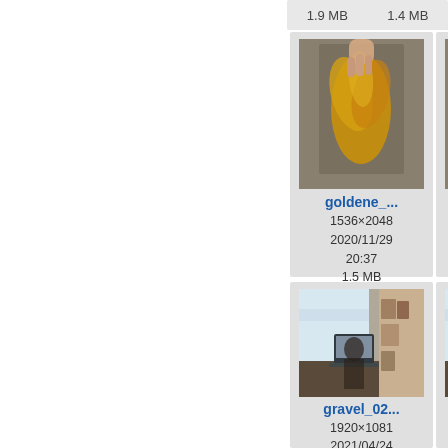1.9 MB    1.4 MB
[Figure (photo): Thumbnail of golden autumn leaf held in hand, filename goldene_...]
goldene_...
1536×2048
2020/11/29
20:37
1.5 MB
[Figure (photo): Thumbnail of golden autumn leaves, filename goldene_...]
goldene_...
760×1191
2020/11/29
20:40
1.9 MB
[Figure (photo): Partial thumbnail at right edge, cropped]
gr
3:
2
[Figure (photo): Thumbnail of person at desk with laptop and window view, filename gravel_02...]
gravel_02...
1920×1081
2021/04/24
12:55
379.6 KB
[Figure (photo): Thumbnail of person at desk with laptop and window view, filename gravel_02...]
gravel_02...
1920×1081
2021/04/24
12:53
379.6 KB
[Figure (photo): Partial thumbnail at right edge, cropped]
gr
4:
2